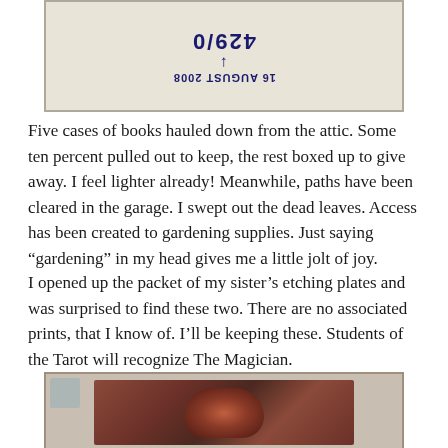[Figure (photo): A photograph showing an upside-down library date stamp card with the number 429/0 and a date stamp reading 16 AUGUST 2008, with torn paper edges visible]
Five cases of books hauled down from the attic. Some ten percent pulled out to keep, the rest boxed up to give away. I feel lighter already! Meanwhile, paths have been cleared in the garage. I swept out the dead leaves. Access has been created to gardening supplies. Just saying “gardening” in my head gives me a little jolt of joy.
I opened up the packet of my sister’s etching plates and was surprised to find these two. There are no associated prints, that I know of. I’ll be keeping these. Students of the Tarot will recognize The Magician.
[Figure (photo): A photograph of an etching plate with a dark reddish-brown relief image of The Magician tarot figure, on a light blue-gray background]